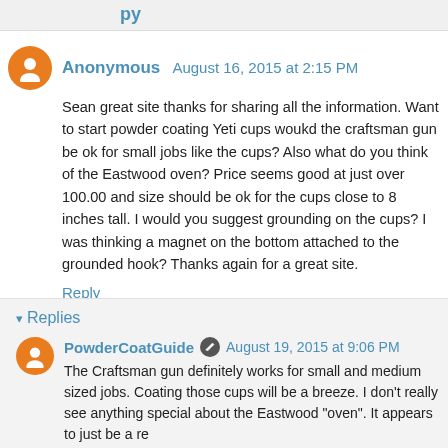Anonymous August 16, 2015 at 2:15 PM
Sean great site thanks for sharing all the information. Want to start powder coating Yeti cups woukd the craftsman gun be ok for small jobs like the cups? Also what do you think of the Eastwood oven? Price seems good at just over 100.00 and size should be ok for the cups close to 8 inches tall. I would you suggest grounding on the cups? I was thinking a magnet on the bottom attached to the grounded hook? Thanks again for a great site.
Reply
Replies
PowderCoatGuide August 19, 2015 at 9:06 PM
The Craftsman gun definitely works for small and medium sized jobs. Coating those cups will be a breeze. I don't really see anything special about the Eastwood "oven". It appears to just be a re